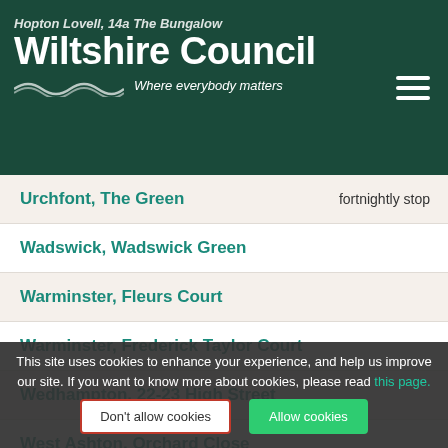Hopton Lovell, 14a The Bungalow
Wiltshire Council – Where everybody matters
Urchfont, The Green
Wadswick, Wadswick Green
Warminster, Fleurs Court
Warminster, Frederick Taylor Court
Wedhampton, 22-23 High Street
West Ashton, Orchard Close
West Dean, Village Hall
West Grim...
This site uses cookies to enhance your experience, and help us improve our site. If you want to know more about cookies, please read this page.